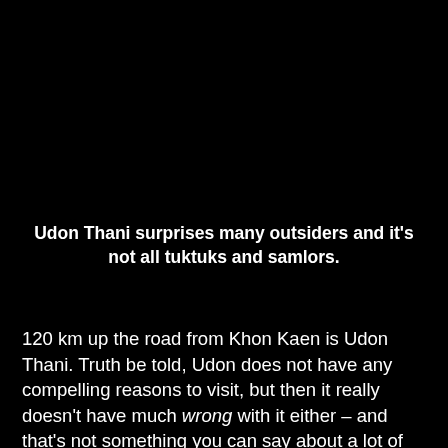Udon Thani surprises many outsiders and it's not all tuktuks and samlors.
120 km up the road from Khon Kaen is Udon Thani. Truth be told, Udon does not have any compelling reasons to visit, but then it really doesn't have much wrong with it either – and that's not something you can say about a lot of places in Thailand, at least